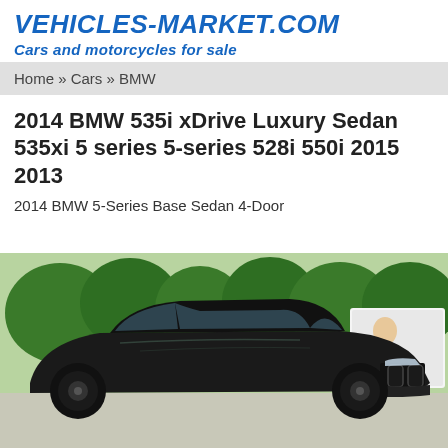VEHICLES-MARKET.COM
Cars and motorcycles for sale
Home » Cars » BMW
2014 BMW 535i xDrive Luxury Sedan 535xi 5 series 5-series 528i 550i 2015 2013
2014 BMW 5-Series Base Sedan 4-Door
[Figure (photo): Dark colored BMW 5-Series sedan photographed outdoors in a parking area with trees and a trailer/billboard visible in the background.]